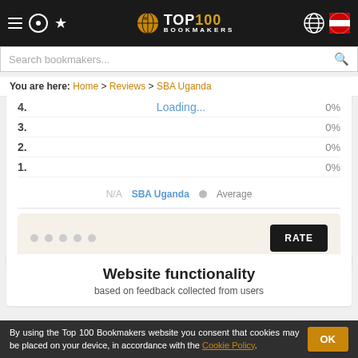TOP100 BOOKMAKERS
Search bookmakers...
You are here: Home > Reviews > SBA Uganda
| Rating | Loading | Percent |
| --- | --- | --- |
| 4. | Loading... | 0% |
| 3. |  | 0% |
| 2. |  | 0% |
| 1. |  | 0% |
N/A  SBA Uganda  ● Average
[Figure (other): Rating widget with 5 dot indicators and a RATE button]
Website functionality
based on feedback collected from users
By using the Top 100 Bookmakers website you consent that cookies may be placed on your device, in accordance with the Cookie Policy.